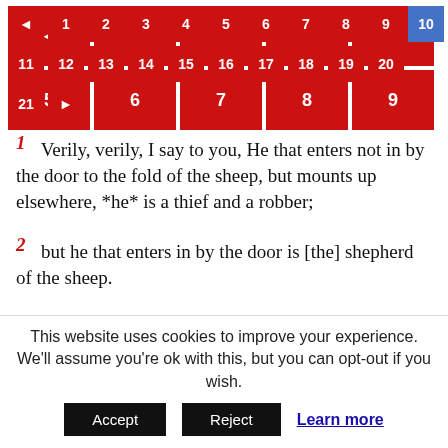[Figure (other): Pagination navigation bar with numbered buttons 1-21, arrow buttons, and button 10 highlighted in blue]
1 Verily, verily, I say to you, He that enters not in by the door to the fold of the sheep, but mounts up elsewhere, *he* is a thief and a robber;
2 but he that enters in by the door is [the] shepherd of the sheep.
3 To him the porter opens; and the sheep hear his voice;
This website uses cookies to improve your experience. We'll assume you're ok with this, but you can opt-out if you wish. Accept Reject Learn more